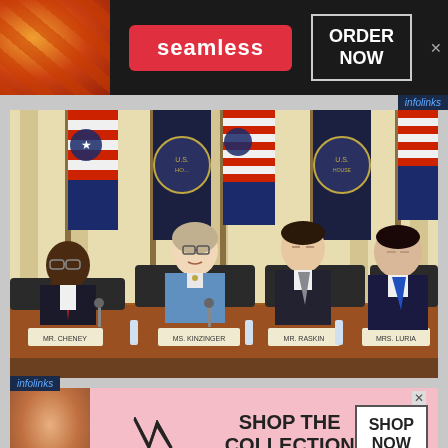[Figure (screenshot): Seamless food delivery advertisement banner with pizza image, 'seamless' red badge, and 'ORDER NOW' button on dark background]
[Figure (photo): Congressional hearing photo showing four committee members seated at a dais with name plates reading Mr. Cheney, Ms. Kinzinger, Mr. Raskin, Mrs. Luria, with American flags and U.S. House seals in background]
[Figure (screenshot): Victoria's Secret advertisement with model, VS logo, 'SHOP THE COLLECTION' text, and 'SHOP NOW' button on pink background]